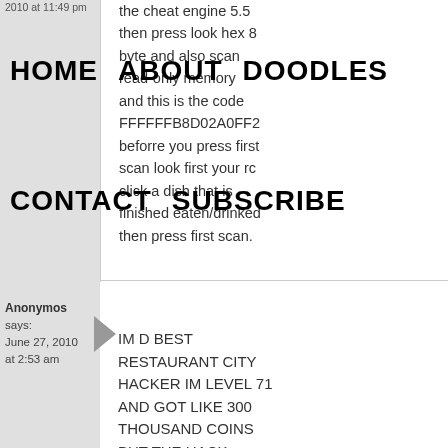HOME   ABOUT   DOODLES   CONTACT   SUBSCRIBE
the cheat engine 5.5 then press look hex 8 byte and also scan read-only memory and this is the code FFFFFFB8D02A0FF2 beforre you press first scan look first your rc click a dish that is finished eaten/drinked then press first scan.
Anonymos says: June 27, 2010 at 2:53 am
IM D BEST RESTAURANT CITY HACKER IM LEVEL 71 AND GOT LIKE 300 THOUSAND COINS BUT THE HACK DOESNT WORK ANYMORE :(